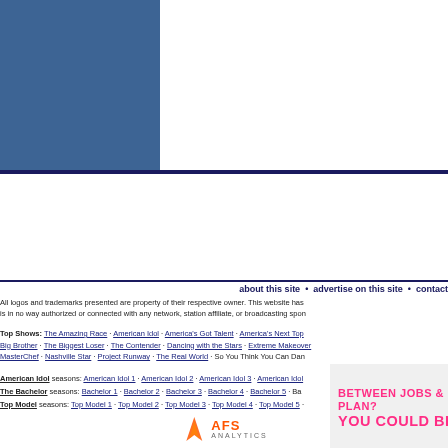[Figure (other): Blue square logo/header graphic on white background with navy horizontal line separator]
[Figure (other): Advertisement banner: 'BETWEEN JOBS & NEED A HEALTH PLAN? YOU COULD BE ELIGIBLE.' with pink accent box on right side]
about this site • advertise on this site • contact
All logos and trademarks presented are property of their respective owner. This website has is in no way authorized or connected with any network, station affiliate, or broadcasting spon
Top Shows: The Amazing Race · American Idol · America's Got Talent · America's Next Top Big Brother · The Biggest Loser · The Contender · Dancing with the Stars · Extreme Makeover MasterChef · Nashville Star · Project Runway · The Real World · So You Think You Can Dan
American Idol seasons: American Idol 1 · American Idol 2 · American Idol 3 · American Idol
The Bachelor seasons: Bachelor 1 · Bachelor 2 · Bachelor 3 · Bachelor 4 · Bachelor 5 · Ba
Top Model seasons: Top Model 1 · Top Model 2 · Top Model 3 · Top Model 4 · Top Model 5 ·
[Figure (logo): AFS Analytics logo with flame icon and text AFS ANALYTICS]